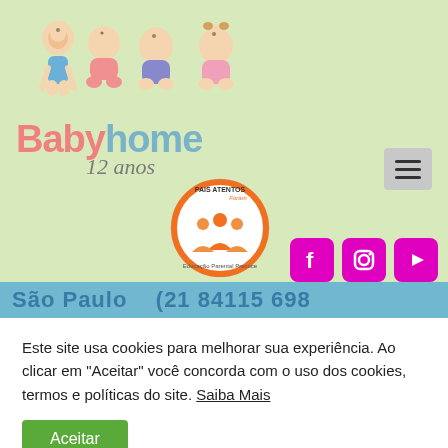[Figure (logo): BabyHome logo with cartoon babies illustration and text 'Babyhome 12 anos']
[Figure (logo): Pais Atentos Foram - Educação Parental Precoce circular badge logo with orange family silhouette]
[Figure (infographic): Social media icons: Facebook, Instagram, YouTube in magenta/pink squares]
São Paulo   (21 84115 698
Este site usa cookies para melhorar sua experiência. Ao clicar em "Aceitar" você concorda com o uso dos cookies, termos e políticas do site. Saiba Mais
Aceitar